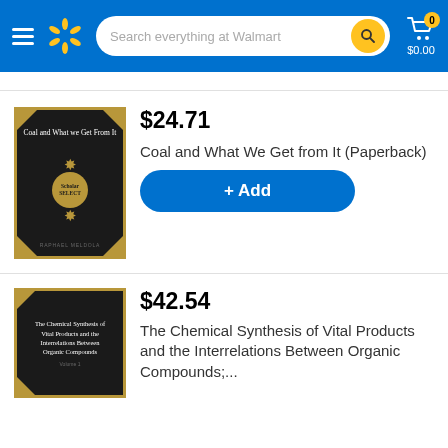[Figure (screenshot): Walmart website header with hamburger menu, Walmart spark logo, search bar reading 'Search everything at Walmart', search button, and cart icon showing 0 items and $0.00]
$24.71
Coal and What We Get from It (Paperback)
[Figure (illustration): Book cover for 'Coal and What we Get From It' — black cover with gold border corners, Scholar's Select badge with laurel wreath, author name at bottom]
+ Add
$42.54
The Chemical Synthesis of Vital Products and the Interrelations Between Organic Compounds;...
[Figure (illustration): Book cover for 'The Chemical Synthesis of Vital Products and the Interrelations Between Organic Compounds Volume 1' — black cover with gold border corners]